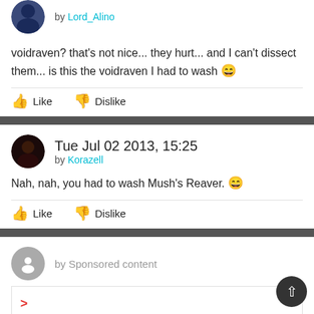by Lord_Alino
voidraven? that's not nice... they hurt... and I can't dissect them... is this the voidraven I had to wash 😄
Like  Dislike
Tue Jul 02 2013, 15:25
by Korazell
Nah, nah, you had to wash Mush's Reaver. 😄
Like  Dislike
by Sponsored content